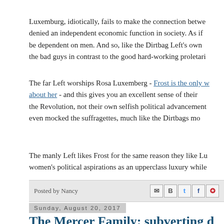Luxemburg, idiotically, fails to make the connection betwe... denied an independent economic function in society. As if ... be dependent on men. And so, like the Dirtbag Left's own ... the bad guys in contrast to the good hard-working proletaria...
The far Left worships Rosa Luxemberg - Frost is the only w... about her -  and this gives you an excellent sense of their ... the Revolution, not their own selfish political advancement... even mocked the suffragettes, much like the Dirtbags mo...
The manly Left likes Frost for the same reason they like Lu... women's political aspirations as an upperclass luxury while...
Posted by Nancy
Sunday, August 20, 2017
The Mercer Family: subverting d...